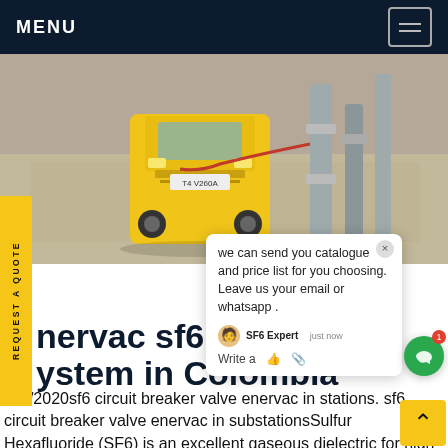MENU
[Figure (photo): Aerial/top-down view of a yellow truck/vehicle at an industrial substation site with large metal pipe infrastructure on a concrete pad.]
REQUEST A QUOTE
we can send you catalogue and price list for you choosing. Leave us your email or whatsapp .
nervac sf6 Alte... s ystem in Colombia
7/2020sf6 circuit breaker valve enervac in stations. sf6 circuit breaker valve enervac in substationsSulfur Hexafluoride (SF6) is an excellent gaseous dielectric for high voltage power applications. It has been used extensively in high